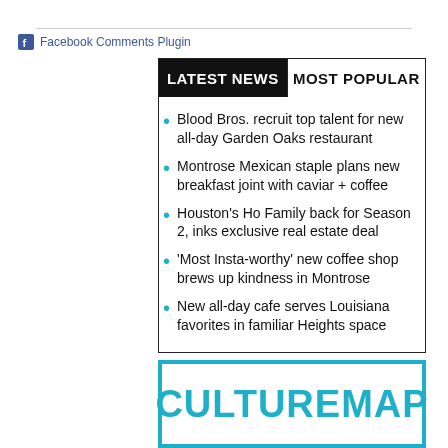Facebook Comments Plugin
Blood Bros. recruit top talent for new all-day Garden Oaks restaurant
Montrose Mexican staple plans new breakfast joint with caviar + coffee
Houston's Ho Family back for Season 2, inks exclusive real estate deal
'Most Insta-worthy' new coffee shop brews up kindness in Montrose
New all-day cafe serves Louisiana favorites in familiar Heights space
[Figure (logo): CultureMap logo in teal with teal border box]